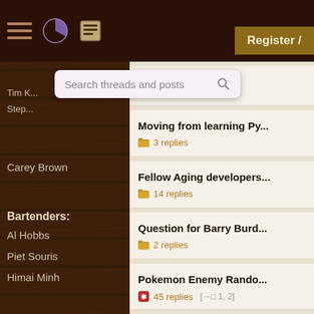[Figure (screenshot): Forum website screenshot showing navigation bar, sidebar with user names, search bar, register button, and thread listing]
Tim K...
Step...
Carey Brown
Bartenders:
Al Hobbs
Piet Souris
Himai Minh
Register /
Search threads and posts
My (thi... [thread title truncated] - 9 replies
Moving from learning Py... - 3 replies
Fellow Aging developers... - 14 replies
Question for Barry Burd... - 2 replies
Pokemon Enemy Rando... - 45 replies [→□ 1, 2]